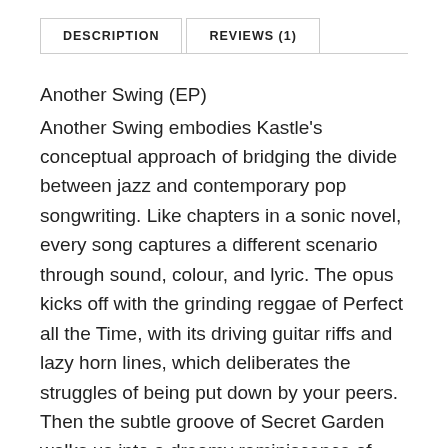DESCRIPTION
REVIEWS (1)
Another Swing (EP)
Another Swing embodies Kastle's conceptual approach of bridging the divide between jazz and contemporary pop songwriting. Like chapters in a sonic novel, every song captures a different scenario through sound, colour, and lyric. The opus kicks off with the grinding reggae of Perfect all the Time, with its driving guitar riffs and lazy horn lines, which deliberates the struggles of being put down by your peers. Then the subtle groove of Secret Garden walks us into a dreamy reminiscence of